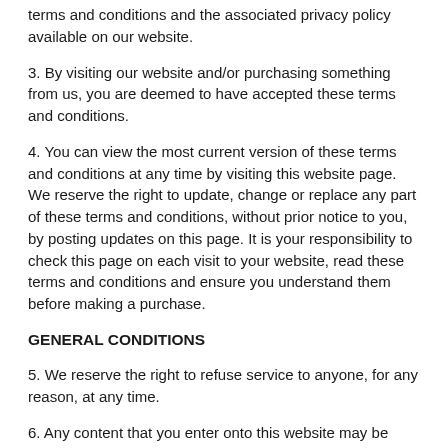terms and conditions and the associated privacy policy available on our website.
3. By visiting our website and/or purchasing something from us, you are deemed to have accepted these terms and conditions.
4. You can view the most current version of these terms and conditions at any time by visiting this website page. We reserve the right to update, change or replace any part of these terms and conditions, without prior notice to you, by posting updates on this page. It is your responsibility to check this page on each visit to your website, read these terms and conditions and ensure you understand them before making a purchase.
GENERAL CONDITIONS
5. We reserve the right to refuse service to anyone, for any reason, at any time.
6. Any content that you enter onto this website may be transferred unencrypted and involve transmissions over various networks and may involve changes in order to conform and adapt to the technical requirements of connecting networks or devices.